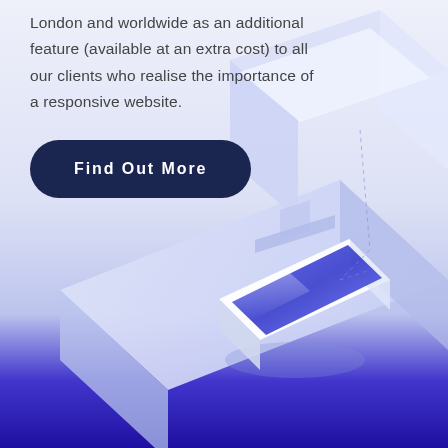London and worldwide as an additional feature (available at an extra cost) to all our clients who realise the importance of a responsive website.
[Figure (illustration): Isometric illustration of responsive web design devices: a laptop/monitor and a smartphone arranged on a platform surface with blue and light purple color scheme and dashed connecting lines]